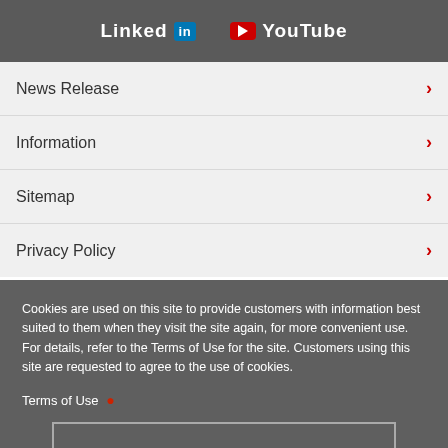[Figure (logo): LinkedIn and YouTube social media logos in white on dark grey banner]
News Release
Information
Sitemap
Privacy Policy
Cookies are used on this site to provide customers with information best suited to them when they visit the site again, for more convenient use.
For details, refer to the Terms of Use for the site. Customers using this site are requested to agree to the use of cookies.
Terms of Use
I agree.